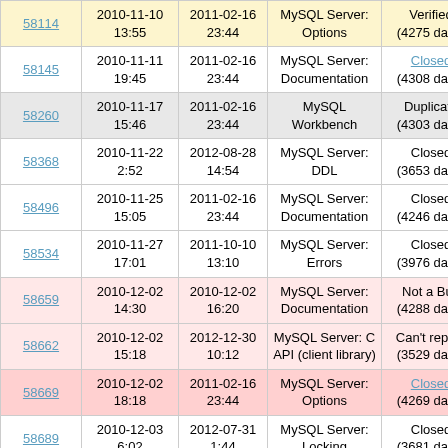| ID | Created | Modified | Category | Status | S |
| --- | --- | --- | --- | --- | --- |
| 58114 | 2010-11-10 13:55 | 2011-02-16 23:44 | MySQL Server: Options | Verified (4275 days) | S3 |
| 58145 | 2010-11-11 19:45 | 2011-02-16 23:44 | MySQL Server: Documentation | Closed (4308 days) | S3 |
| 58260 | 2010-11-17 15:46 | 2011-02-16 23:44 | MySQL Workbench | Duplicate (4303 days) | S3 |
| 58368 | 2010-11-22 2:52 | 2012-08-28 14:54 | MySQL Server: DDL | Closed (3653 days) | S3 |
| 58496 | 2010-11-25 15:05 | 2011-02-16 23:44 | MySQL Server: Documentation | Closed (4246 days) | S3 |
| 58534 | 2010-11-27 17:01 | 2011-10-10 13:10 | MySQL Server: Errors | Closed (3976 days) | S3 |
| 58659 | 2010-12-02 14:30 | 2010-12-02 16:20 | MySQL Server: Documentation | Not a Bug (4288 days) | S3 |
| 58662 | 2010-12-02 15:18 | 2012-12-30 10:12 | MySQL Server: C API (client library) | Can't repeat (3529 days) | S3 |
| 58669 | 2010-12-02 18:18 | 2011-02-16 23:44 | MySQL Server: Options | Closed (4269 days) | S1 |
| 58689 | 2010-12-03 6:02 | 2012-07-31 1:44 | MySQL Server: Locking | Closed (3681 days) | S3 |
| 58700+ | 2010-12-03 | 2013-11-20 | Connectors: | Closed | S3 |